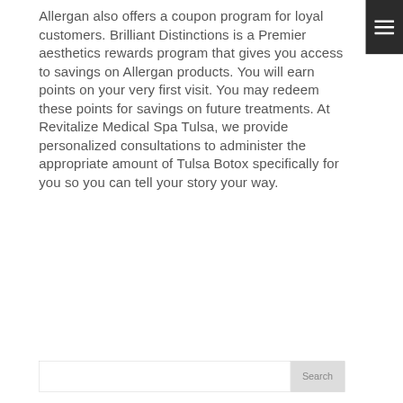Allergan also offers a coupon program for loyal customers. Brilliant Distinctions is a Premier aesthetics rewards program that gives you access to savings on Allergan products. You will earn points on your very first visit. You may redeem these points for savings on future treatments. At Revitalize Medical Spa Tulsa, we provide personalized consultations to administer the appropriate amount of Tulsa Botox specifically for you so you can tell your story your way.